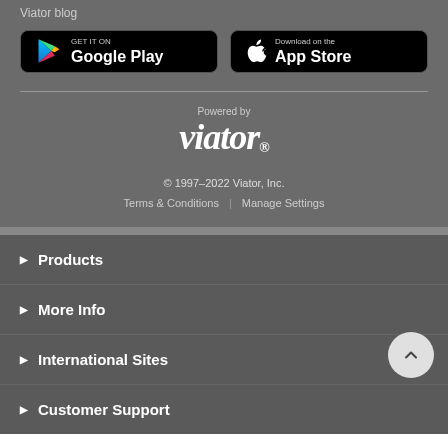Viator blog
[Figure (screenshot): GET IT ON Google Play app store button]
[Figure (screenshot): Download on the App Store button]
[Figure (logo): Powered by viator logo]
© 1997–2022 Viator, Inc.
Terms & Conditions | Manage Settings
Products
More Info
International Sites
Customer Support